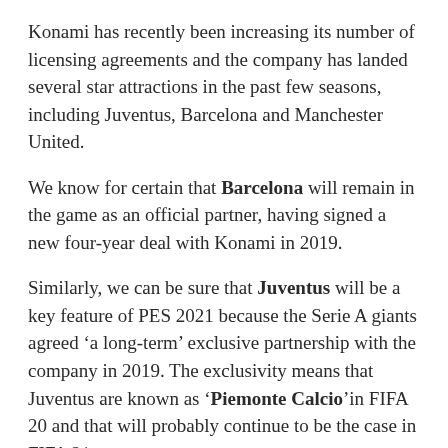Konami has recently been increasing its number of licensing agreements and the company has landed several star attractions in the past few seasons, including Juventus, Barcelona and Manchester United.
We know for certain that Barcelona will remain in the game as an official partner, having signed a new four-year deal with Konami in 2019.
Similarly, we can be sure that Juventus will be a key feature of PES 2021 because the Serie A giants agreed ‘a long-term’ exclusive partnership with the company in 2019. The exclusivity means that Juventus are known as ‘Piemonte Calcio’in FIFA 20 and that will probably continue to be the case in FIFA 21.